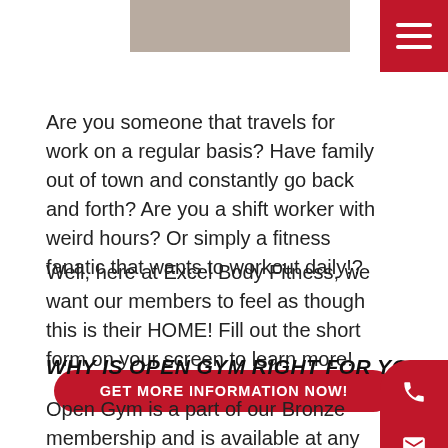Are you someone that travels for work on a regular basis? Have family out of town and constantly go back and forth? Are you a shift worker with weird hours? Or simply a fitness fanatic that wants to workout daily!?
Well, here at Excel Body Fitness, we want our members to feel as though this is their HOME! Fill out the short form on your screen to learn more!
GET MORE INFORMATION NOW!
WHY IS OPEN GYM RIGHT FOR YOU?
Open Gym is a part of our Bronze membership and is available at any time during business hours. It is a place